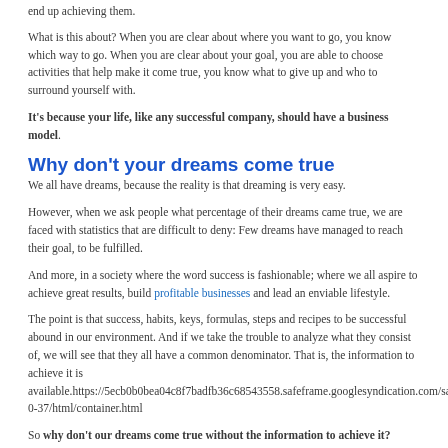end up achieving them.
What is this about? When you are clear about where you want to go, you know which way to go. When you are clear about your goal, you are able to choose activities that help make it come true, you know what to give up and who to surround yourself with.
It's because your life, like any successful company, should have a business model.
Why don't your dreams come true
We all have dreams, because the reality is that dreaming is very easy.
However, when we ask people what percentage of their dreams came true, we are faced with statistics that are difficult to deny: Few dreams have managed to reach their goal, to be fulfilled.
And more, in a society where the word success is fashionable; where we all aspire to achieve great results, build profitable businesses and lead an enviable lifestyle.
The point is that success, habits, keys, formulas, steps and recipes to be successful abound in our environment. And if we take the trouble to analyze what they consist of, we will see that they all have a common denominator. That is, the information to achieve it is available.https://5ecb0b0bea04c8f7badfb36c68543558.safeframe.googlesyndication.com/safeframe/1-0-37/html/container.html
So why don't our dreams come true without the information to achieve it?